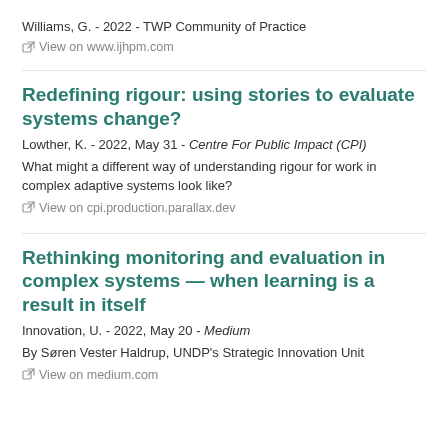Williams, G. - 2022 - TWP Community of Practice
View on www.ijhpm.com
Redefining rigour: using stories to evaluate systems change?
Lowther, K. - 2022, May 31 - Centre For Public Impact (CPI)
What might a different way of understanding rigour for work in complex adaptive systems look like?
View on cpi.production.parallax.dev
Rethinking monitoring and evaluation in complex systems — when learning is a result in itself
Innovation, U. - 2022, May 20 - Medium
By Søren Vester Haldrup, UNDP's Strategic Innovation Unit
View on medium.com